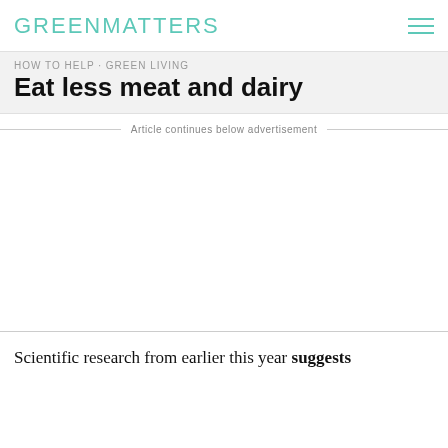GREENMATTERS
Eat less meat and dairy
Article continues below advertisement
Scientific research from earlier this year suggests